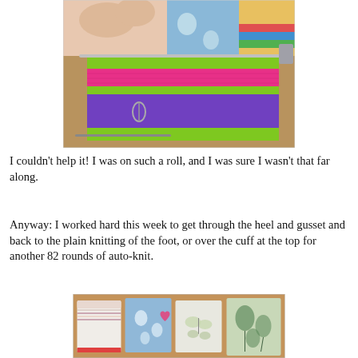[Figure (photo): A hand holding colorful striped knitting in progress on a needle, with green, pink, and purple stripes, and a safety pin visible. Colorful fabric visible in background.]
I couldn't help it! I was on such a roll, and I was sure I wasn't that far along.
Anyway: I worked hard this week to get through the heel and gusset and back to the plain knitting of the foot, or over the cuff at the top for another 82 rounds of auto-knit.
[Figure (photo): Several small fabric pouches or pin cushions laid side by side on a wooden surface, featuring various floral and butterfly patterns in white, blue, pink and green fabrics with decorative stitching.]